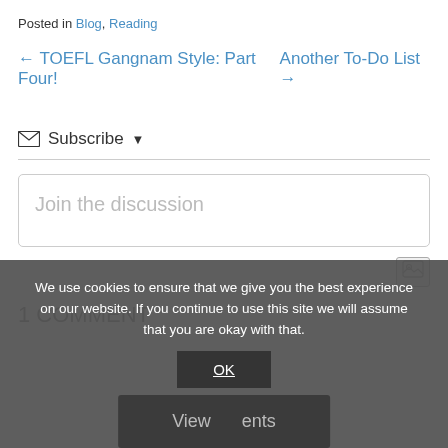Posted in Blog, Reading
← TOEFL Gangnam Style: Part Four!    Another To-Do List →
✉ Subscribe ▼
Join the discussion
[Figure (other): Image icon button (photo/image upload indicator)]
1 COMMENT
We use cookies to ensure that we give you the best experience on our website. If you continue to use this site we will assume that you are okay with that.
OK
View Comments